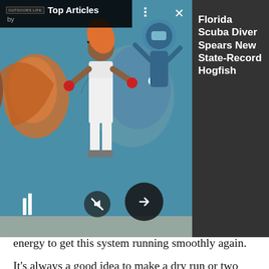[Figure (photo): A man standing in front of a colorful fish mural holding a large fish, wearing white shorts and red gloves. Overlay shows 'Top Articles by OutdoorsLife' banner in top left, and article title 'Florida Scuba Diver Spears New State-Record Hogfish' on dark right panel. Navigation controls visible.]
energy to get this system running smoothly again.
It's always a good idea to make a dry run or two before you head out for the season. Some folks make the time to take several pack trips throughout the preseason—but I'm not usually one of those guys. If you have the chance though, it can help tremendously to load up your full hunting pack and go on an overnight or weekend trip. You don't have to put a ton of miles on
the boots, you should just get comfortable with your gear. It does make it more realistic—and useful—to